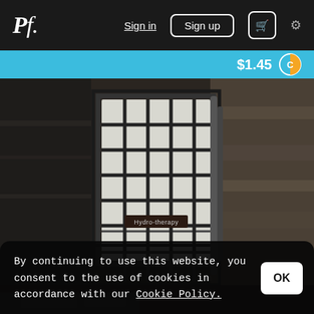Pf. | Sign in | Sign up | Cart | Settings
$1.45
[Figure (photo): Interior of an old institutional building showing a large barred window with grid-pattern iron bars, aged and weathered walls with peeling paint and exposed brick. A sign reading 'Hydro-therapy' is visible on the bars.]
By continuing to use this website, you consent to the use of cookies in accordance with our Cookie Policy.